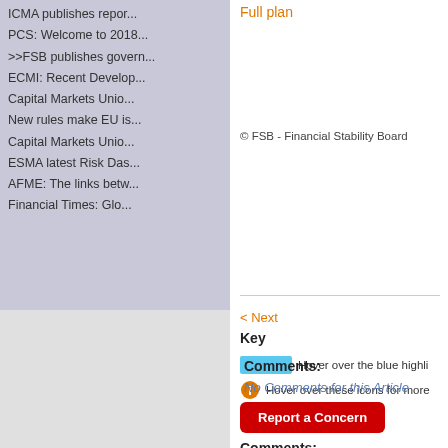ICMA publishes repor...
PCS: Welcome to 2018...
>>FSB publishes govern...
ECMI: Recent Develop...
Capital Markets Unio...
New rules make EU is...
Capital Markets Unio...
ESMA latest Risk Das...
AFME: The links betw...
Financial Times: Glo...
Full plan
© FSB - Financial Stability Board
< Next
Key
Hover over the blue highli
Hover over these icons for more
Report a Concern
Comments:
No Comments for this Article